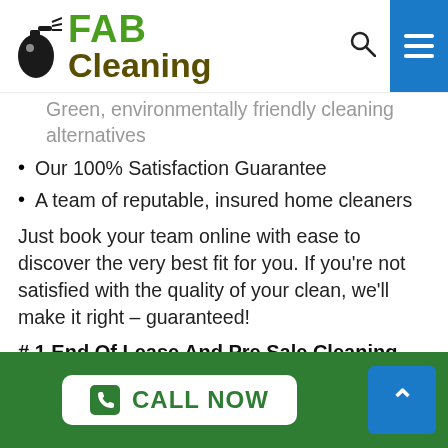FAB Cleaning
Green, environmentally friendly cleaning alternatives
Our 100% Satisfaction Guarantee
A team of reputable, insured home cleaners
Just book your team online with ease to discover the very best fit for you. If you're not satisfied with the quality of your clean, we'll make it right – guaranteed!
# 1 End Of Lease And Pre Sale Cleaning Company Trusted In Epping!
Discover why house owners throughout Epping are turning to us for thorough and economical home cleaning
CALL NOW